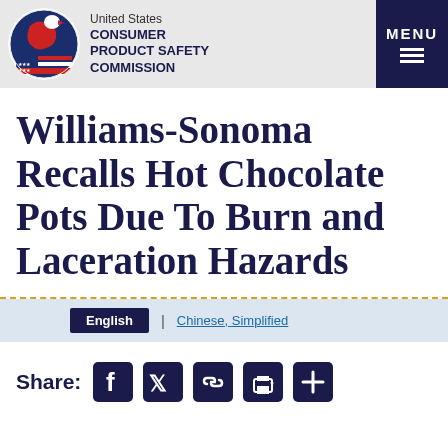United States CONSUMER PRODUCT SAFETY COMMISSION
Williams-Sonoma Recalls Hot Chocolate Pots Due To Burn and Laceration Hazards
English | Chinese, Simplified
Share: